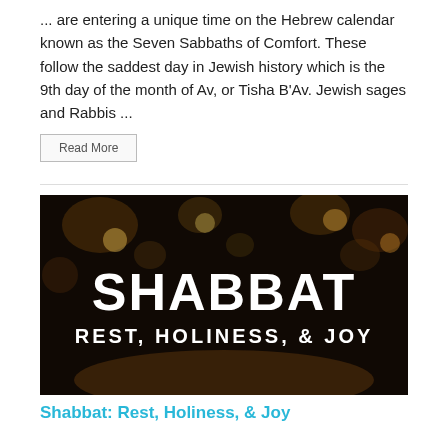... are entering a unique time on the Hebrew calendar known as the Seven Sabbaths of Comfort. These follow the saddest day in Jewish history which is the 9th day of the month of Av, or Tisha B'Av. Jewish sages and Rabbis ...
Read More
[Figure (photo): Dark atmospheric photo of people gathered around a table with warm glowing lights, overlaid with bold white text reading 'SHABBAT' and below it 'REST, HOLINESS, & JOY']
Shabbat: Rest, Holiness, & Joy